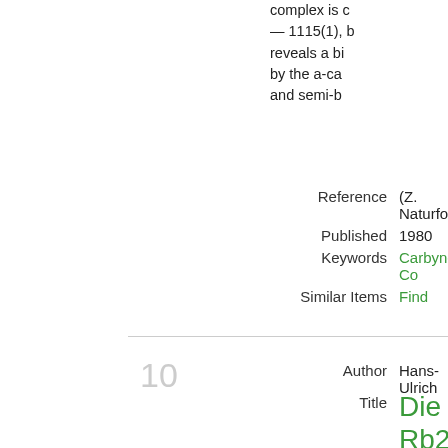complex is c — 1115(1), b reveals a bi by the a-ca and semi-b
Reference
(Z. Naturfor
Published
1980
Keywords
Carbyne Co
Similar Items
Find
10
Author
Hans-Ulrich
Die Stru Rb2Mo3 Rubidiu
Abstract
For the firste trans-forma rubidium m Rb2Mo30io identity per two termina
Reference
Z. Naturfor November